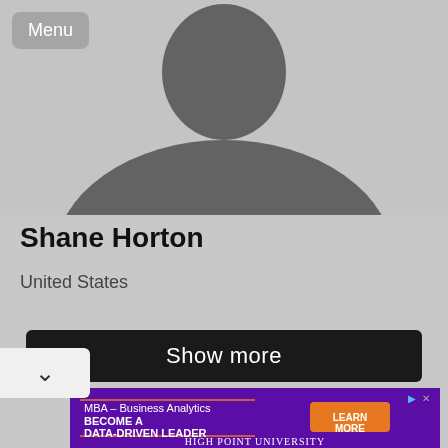[Figure (illustration): Gray silhouette of a person (profile placeholder image) on a light gray background]
Menu
Shane Horton
United States
Show more
[Figure (infographic): Advertisement banner for High Point University MBA Business Analytics program reading: 'MBA – Business Analytics BECOME A DATA-DRIVEN LEADER LEARN MORE HIGH POINT UNIVERSITY']